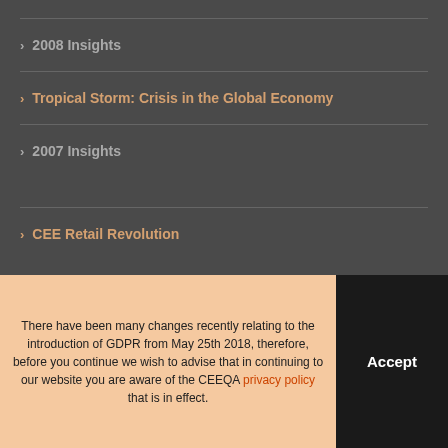2008 Insights
Tropical Storm: Crisis in the Global Economy
2007 Insights
CEE Retail Revolution
There have been many changes recently relating to the introduction of GDPR from May 25th 2018, therefore, before you continue we wish to advise that in continuing to our website you are aware of the CEEQA privacy policy that is in effect.
Accept